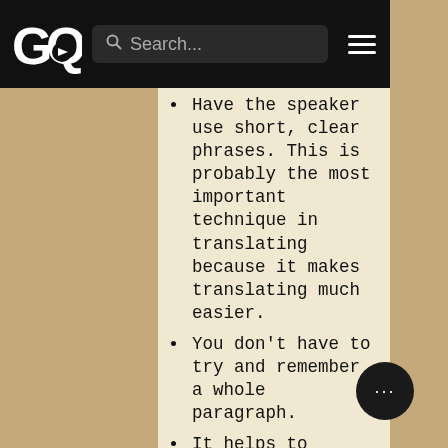GQ navigation bar with logo, search, and menu
Have the speaker use short, clear phrases. This is probably the most important technique in translating because it makes translating much easier.
You don't have to try and remember a whole paragraph.
It helps to convey the emotion of the speaker without long pauses. The audience can catch the emphasis of phrases and expressions.
Just as you translate the words, you must also express the emotions and the expressions of the speaker. Follow the speaker in putting